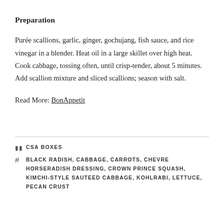Preparation
Purée scallions, garlic, ginger, gochujang, fish sauce, and rice vinegar in a blender. Heat oil in a large skillet over high heat. Cook cabbage, tossing often, until crisp-tender, about 5 minutes. Add scallion mixture and sliced scallions; season with salt.
Read More: BonAppetit
CSA BOXES
BLACK RADISH, CABBAGE, CARROTS, CHEVRE HORSERADISH DRESSING, CROWN PRINCE SQUASH, KIMCHI-STYLE SAUTEED CABBAGE, KOHLRABI, LETTUCE, PECAN CRUST